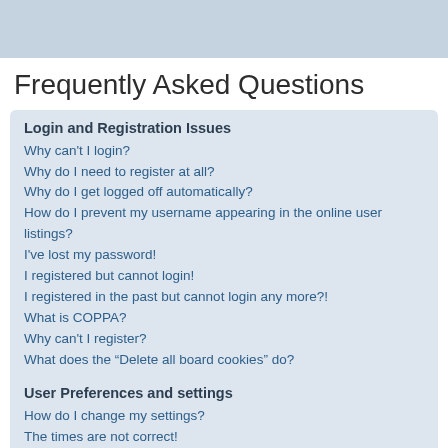Frequently Asked Questions
Login and Registration Issues
Why can't I login?
Why do I need to register at all?
Why do I get logged off automatically?
How do I prevent my username appearing in the online user listings?
I've lost my password!
I registered but cannot login!
I registered in the past but cannot login any more?!
What is COPPA?
Why can't I register?
What does the “Delete all board cookies” do?
User Preferences and settings
How do I change my settings?
The times are not correct!
I changed the timezone and the time is still wrong!
My language is not in the list!
How do I show an image along with my username?